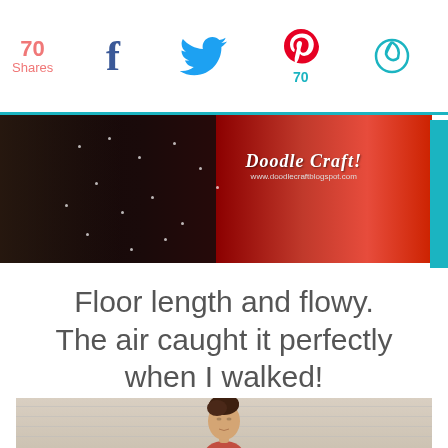70 Shares | Facebook share | Twitter share | Pinterest 70 | Flipboard share
[Figure (photo): Blog header photo showing a woman in a black sparkly dress on the left side and red flowing fabric on the right, with 'Doodle Craft! www.doodlecraftblogspot.com' watermark]
Floor length and flowy. The air caught it perfectly when I walked!
[Figure (photo): Bottom portion of photo showing a woman with dark updo hair in front of a light-colored siding wall, wearing a red garment]